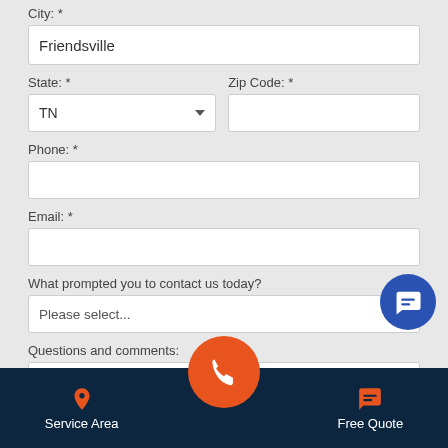City: *
Friendsville
State: *
Zip Code: *
TN
Phone: *
Email: *
What prompted you to contact us today?
Please select...
Questions and comments:
Service Area
Free Quote